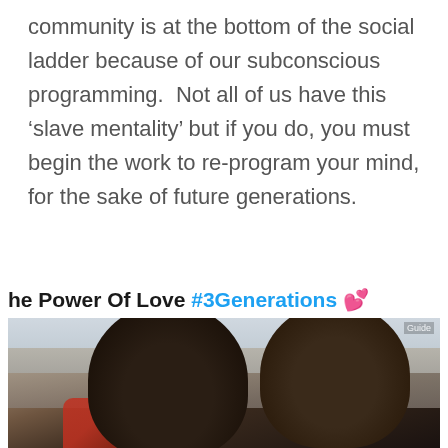community is at the bottom of the social ladder because of our subconscious programming.  Not all of us have this ‘slave mentality’ but if you do, you must begin the work to re-program your mind, for the sake of future generations.
The Power Of Love #3Generations 💕
[Figure (photo): A photo showing two people of African descent in close proximity, one appearing to kiss or nuzzle the other on the head. The background shows an outdoor scene.]